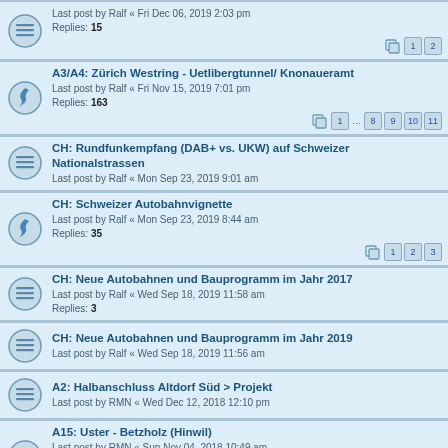Last post by Ralf « Fri Dec 06, 2019 2:03 pm
Replies: 15
A3/A4: Zürich Westring - Uetlibergtunnel/ Knonaueramt
Last post by Ralf « Fri Nov 15, 2019 7:01 pm
Replies: 163
CH: Rundfunkempfang (DAB+ vs. UKW) auf Schweizer Nationalstrassen
Last post by Ralf « Mon Sep 23, 2019 9:01 am
CH: Schweizer Autobahnvignette
Last post by Ralf « Mon Sep 23, 2019 8:44 am
Replies: 35
CH: Neue Autobahnen und Bauprogramm im Jahr 2017
Last post by Ralf « Wed Sep 18, 2019 11:58 am
Replies: 3
CH: Neue Autobahnen und Bauprogramm im Jahr 2019
Last post by Ralf « Wed Sep 18, 2019 11:56 am
A2: Halbanschluss Altdorf Süd > Projekt
Last post by RMN « Wed Dec 12, 2018 12:10 pm
A15: Uster - Betzholz (Hinwil)
Last post by RMN « Sun Nov 04, 2018 10:49 am
Replies: 17
A1: Neue Verkehrszeichen Neuenhof
Last post by Wought1991M « Fri Aug 24, 2018 5:11 am
Replies: 3